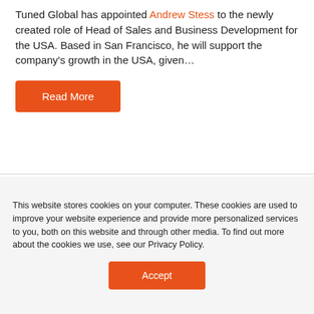Tuned Global has appointed Andrew Stess to the newly created role of Head of Sales and Business Development for the USA. Based in San Francisco, he will support the company's growth in the USA, given…
Read More
This website stores cookies on your computer. These cookies are used to improve your website experience and provide more personalized services to you, both on this website and through other media. To find out more about the cookies we use, see our Privacy Policy.
Accept